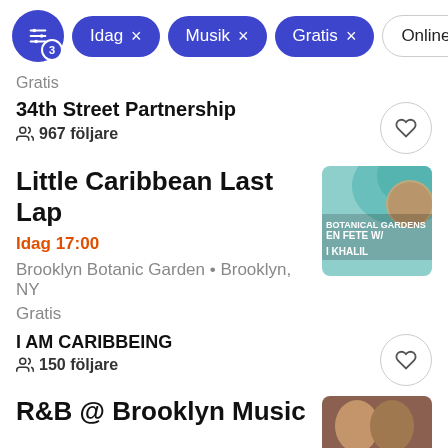Idag × Musik × Gratis × Online
Gratis
34th Street Partnership
967 följare
Little Caribbean Last Lap
Idag 17:00
Brooklyn Botanic Garden • Brooklyn, NY
Gratis
I AM CARIBBEING
150 följare
R&B @ Brooklyn Music